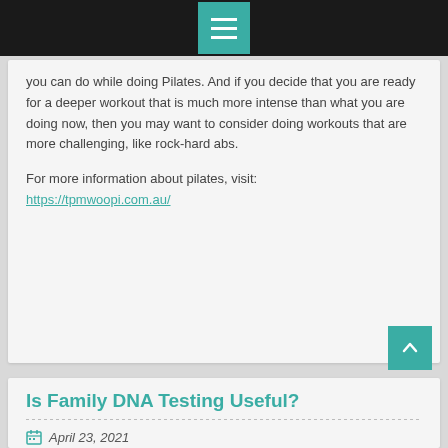Menu icon / navigation bar
you can do while doing Pilates. And if you decide that you are ready for a deeper workout that is much more intense than what you are doing now, then you may want to consider doing workouts that are more challenging, like rock-hard abs.
For more information about pilates, visit:
https://tpmwoopi.com.au/
Is Family DNA Testing Useful?
April 23, 2021
It is true that a lot of families have undergone different types of Nashville dna test over the years and it can even be said that a lot of